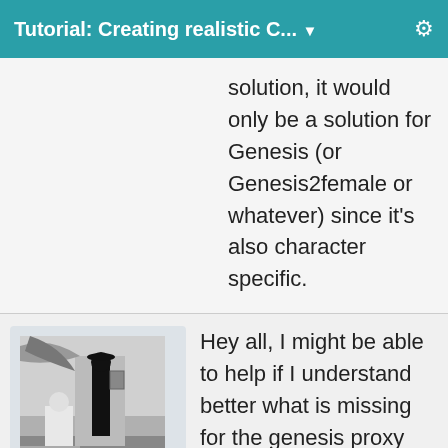Tutorial: Creating realistic C... ▼
solution, it would only be a solution for Genesis (or Genesis2female or whatever) since it's also character specific.
[Figure (illustration): Black and white illustration showing figures in an outdoor scene]
Diomede
Posts: 13,215
February 2015
Hey all, I might be able to help if I understand better what is missing for the genesis proxy mesh. The low-poly mesh that I put on sharecg should be able to be converted to a conforming genesis proxy, including automatically adapting to shape changes. Instructions for converting the